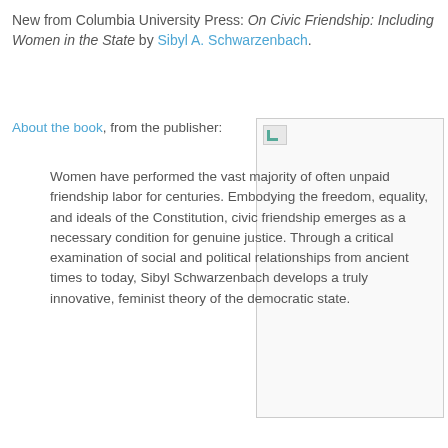New from Columbia University Press: On Civic Friendship: Including Women in the State by Sibyl A. Schwarzenbach.
About the book, from the publisher:
[Figure (photo): Book cover image (broken/not loaded) shown in a bordered rectangle]
Women have performed the vast majority of often unpaid friendship labor for centuries. Embodying the freedom, equality, and ideals of the Constitution, civic friendship emerges as a necessary condition for genuine justice. Through a critical examination of social and political relationships from ancient times to today, Sibyl Schwarzenbach develops a truly innovative, feminist theory of the democratic state.